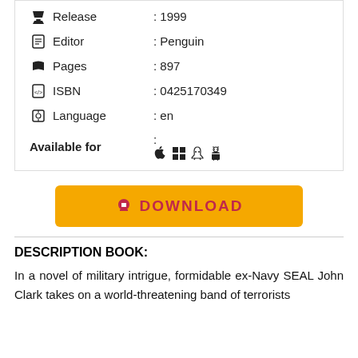| Field | Value |
| --- | --- |
| Release | : 1999 |
| Editor | : Penguin |
| Pages | : 897 |
| ISBN | : 0425170349 |
| Language | : en |
| Available for | : [icons] |
[Figure (other): Download button with cloud/download icon, yellow background, red text reading DOWNLOAD]
DESCRIPTION BOOK:
In a novel of military intrigue, formidable ex-Navy SEAL John Clark takes on a world-threatening band of terrorists